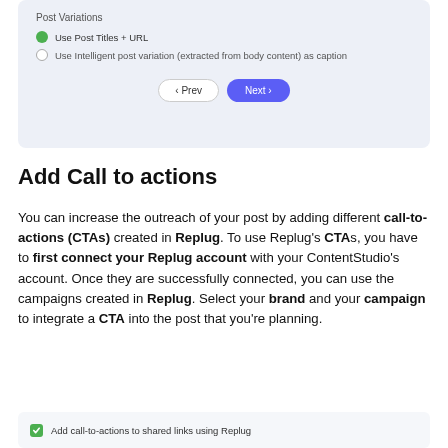[Figure (screenshot): UI screenshot showing Post Variations options with 'Use Post Titles + URL' selected (green radio), 'Use Intelligent post variation (extracted from body content) as caption' unselected, and Prev/Next navigation buttons]
Add Call to actions
You can increase the outreach of your post by adding different call-to-actions (CTAs) created in Replug. To use Replug's CTAs, you have to first connect your Replug account with your ContentStudio's account. Once they are successfully connected, you can use the campaigns created in Replug. Select your brand and your campaign to integrate a CTA into the post that you're planning.
[Figure (screenshot): UI checkbox row showing 'Add call-to-actions to shared links using Replug' with green checkbox checked]